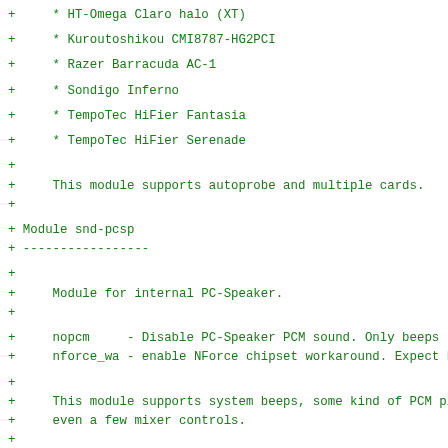+     * HT-Omega Claro halo (XT)
+     * Kuroutoshikou CMI8787-HG2PCI
+     * Razer Barracuda AC-1
+     * Sondigo Inferno
+     * TempoTec HiFier Fantasia
+     * TempoTec HiFier Serenade
+
+     This module supports autoprobe and multiple cards.
+
+ Module snd-pcsp
+ -----------------
+
+     Module for internal PC-Speaker.
+
+     nopcm     - Disable PC-Speaker PCM sound. Only beeps re
+     nforce_wa - enable NForce chipset workaround. Expect ba
+
+     This module supports system beeps, some kind of PCM play
+     even a few mixer controls.
+
+ Module snd-pcxhr
+ ---------------
+
+     Module for Digigram PCXHR boards
+